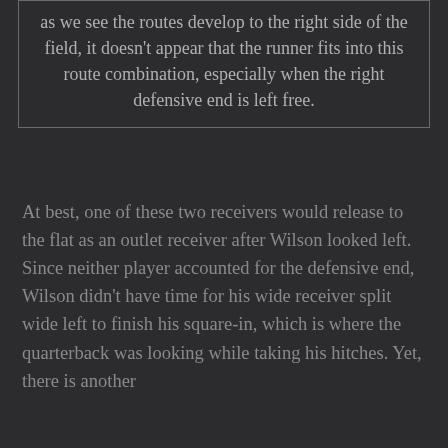as we see the routes develop to the right side of the field, it doesn't appear that the runner fits into this route combination, especially when the right defensive end is left free.
At best, one of these two receivers would release to the flat as an outlet receiver after Wilson looked left. Since neither player accounted for the defensive end, Wilson didn't have time for his wide receiver split wide left to finish his square-in, which is where the quarterback was looking while taking his hitches. Yet, there is another